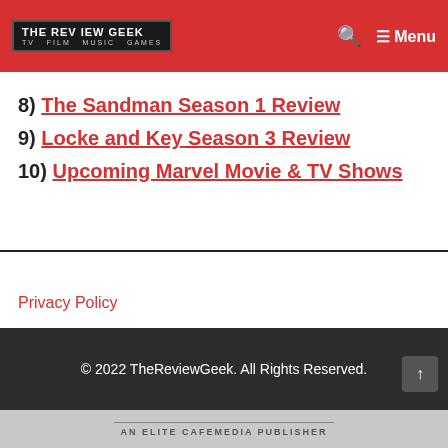THE REVIEW GEEK – TV FILM MUSIC GAMES – Menu
7) The Next 365 Days Ending Explained
8) The Sandman Season 1 Review
9) Locke and Key Season 3 Review
10) Upcoming Marvel Movie & TV Shows
Privacy Policy
© 2022 TheReviewGeek. All Rights Reserved.
AN ELITE CAFEMEDIA PUBLISHER